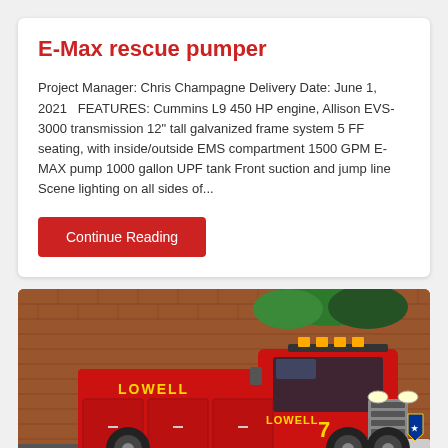E-Max rescue pumper
Project Manager: Chris Champagne Delivery Date: June 1, 2021   FEATURES: Cummins L9 450 HP engine, Allison EVS-3000 transmission 12" tall galvanized frame system 5 FF seating, with inside/outside EMS compartment 1500 GPM E-MAX pump 1000 gallon UPF tank Front suction and jump line Scene lighting on all sides of...
Continue Reading
[Figure (photo): Red fire truck labeled LOWELL 7 parked in front of a brick building, photographed from the front-left angle showing the cab and front grille.]